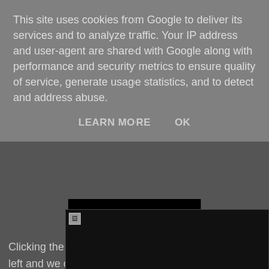This site uses cookies from Google to deliver its services and to analyze traffic. Your IP address and user-agent are shared with Google along with performance and security metrics to ensure quality of service, generate usage statistics, and to detect and address abuse.
LEARN MORE   OK
[Figure (screenshot): Black rectangle representing a UI element or image placeholder partially visible behind the cookie consent overlay]
Clicking the add icon will result in a fold out to the left and we can enter the name as well as the Data Type.
[Figure (screenshot): Screenshot of a UI panel shown below the body text, with a broken image icon in the top-left corner and a black background]